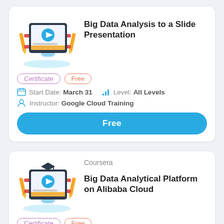[Figure (illustration): Online course illustration with laptop, video play button, and pencil/ruler design]
Big Data Analysis to a Slide Presentation
Certificate
Free
Start Date: March 31
Level: All Levels
Instructor: Google Cloud Training
Free
Coursera
[Figure (illustration): Online course illustration with laptop, video play button, graduation cap, and pencil/ruler design]
Big Data Analytical Platform on Alibaba Cloud
Certificate
Free
Start Date: May 19
Level: All Levels
4.4